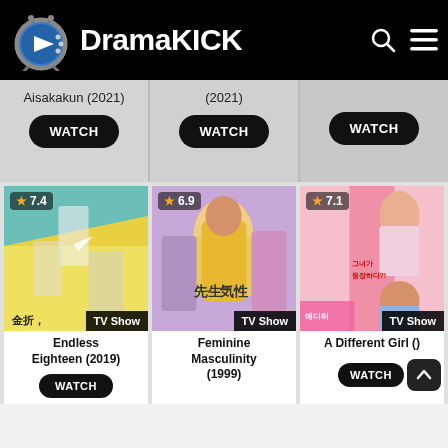DramaKICK
Aisakakun (2021)
(2021)
WATCH
WATCH
WATCH
[Figure (screenshot): TV show poster for Endless Eighteen (2019), rating 7.4, TV Show badge, animated style with students]
TV Show
Endless Eighteen (2019)
WATCH
[Figure (screenshot): TV show poster for Feminine Masculinity (1999), rating 6.9, TV Show badge, group of actors in colorful outfits]
TV Show
Feminine Masculinity (1999)
[Figure (screenshot): TV show poster for A Different Girl (), rating 7.1, TV Show badge, Korean drama pink poster]
TV Show
A Different Girl ()
WATCH